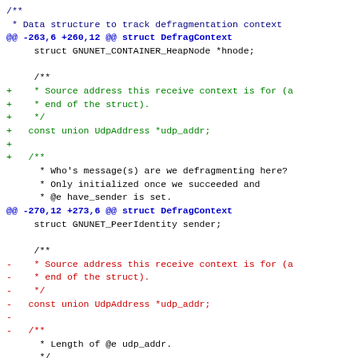Source code diff showing changes to DefragContext and UDP_FragmentationContext structures, including addition and removal of UdpAddress fields.